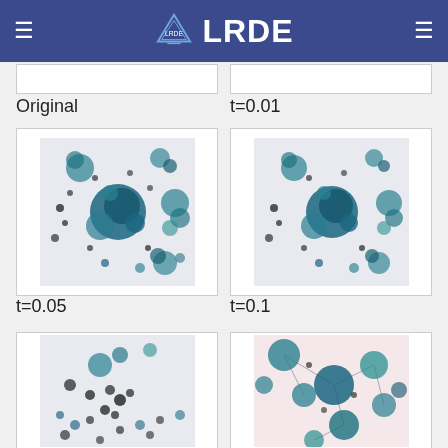LRDE
[Figure (photo): Partial view of microscopy image (Original), cropped at top]
[Figure (photo): Partial view of microscopy image (t=0.01), cropped at top]
Original
t=0.01
[Figure (photo): Microscopy image showing teal/blue cell clusters on light background, t=0.05]
[Figure (photo): Microscopy image showing teal/blue cell clusters on light background, t=0.1]
t=0.05
t=0.1
[Figure (photo): Microscopy image showing dispersed cell clusters, partially visible, unlabeled]
[Figure (photo): Microscopy image showing connected large cell clusters with network lines, partially visible, unlabeled]